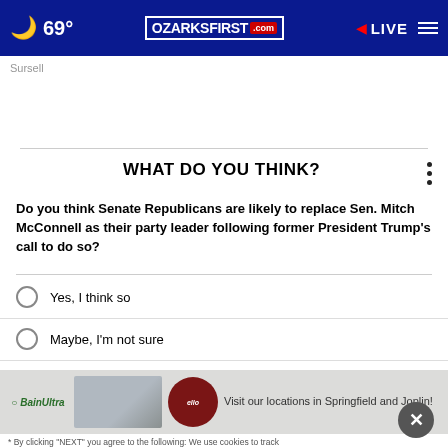69° OZARKSFIRST.com LIVE
Sursell
WHAT DO YOU THINK?
Do you think Senate Republicans are likely to replace Sen. Mitch McConnell as their party leader following former President Trump's call to do so?
Yes, I think so
Maybe, I'm not sure
No, I don't think so
Other / No opinion
[Figure (screenshot): BainUltra advertisement with bathtub image and text: Visit our locations in Springfield and Joplin!]
* By clicking "NEXT" you agree to the following: We use cookies to track